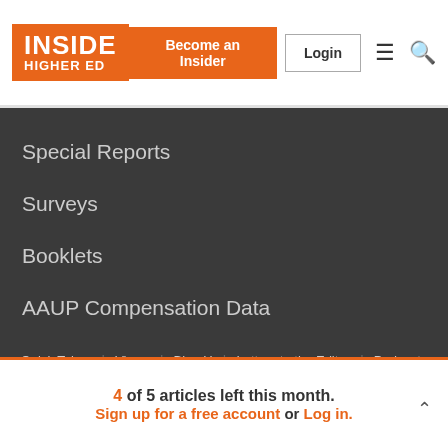INSIDE HIGHER ED | Become an Insider | Login
Special Reports
Surveys
Booklets
AAUP Compensation Data
Quick Takes | Views | Blog U | Letters to the Editor | Podcasts | Topics | Sponsored Content
4 of 5 articles left this month. Sign up for a free account or Log in.